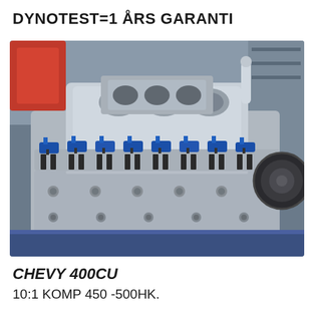DYNOTEST=1 ÅRS GARANTI
[Figure (photo): Close-up photo of a Chevy 400CU engine block with blue anodized rocker arms, valve springs, and an aluminum intake manifold, shown on an engine stand in a garage/workshop setting.]
CHEVY 400CU
10:1 KOMP 450 -500HK.